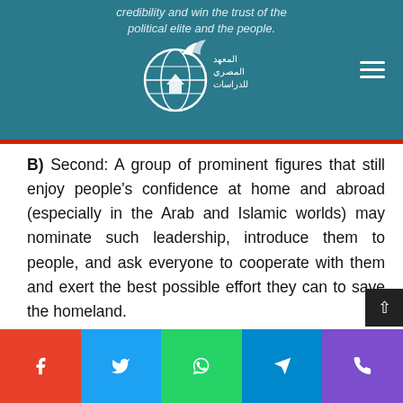credibility and win the trust of the political elite and the people.
B) Second: A group of prominent figures that still enjoy people's confidence at home and abroad (especially in the Arab and Islamic worlds) may nominate such leadership, introduce them to people, and ask everyone to cooperate with them and exert the best possible effort they can to save the homeland.
Facebook | Twitter | WhatsApp | Telegram | Phone